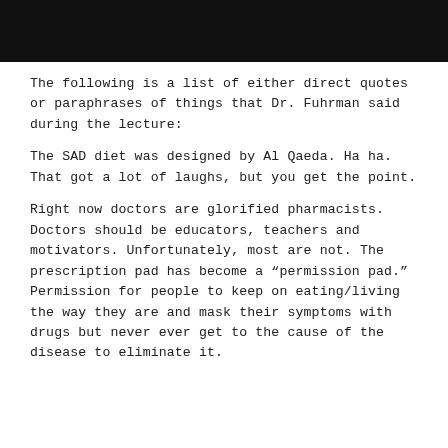[Figure (photo): Dark/black background photo strip at top of page, partially visible]
The following is a list of either direct quotes or paraphrases of things that Dr. Fuhrman said during the lecture:
The SAD diet was designed by Al Qaeda. Ha ha. That got a lot of laughs, but you get the point.
Right now doctors are glorified pharmacists. Doctors should be educators, teachers and motivators. Unfortunately, most are not. The prescription pad has become a “permission pad.” Permission for people to keep on eating/living the way they are and mask their symptoms with drugs but never ever get to the cause of the disease to eliminate it.